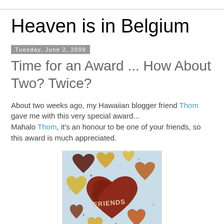Heaven is in Belgium
Tuesday, June 2, 2009
Time for an Award ... How About Two? Twice?
About two weeks ago, my Hawaiian blogger friend Thom gave me with this very special award... Mahalo Thom, it's an honour to be one of your friends, so this award is much appreciated.
[Figure (illustration): A colorful painting of multiple hearts in shades of red, brown, yellow and orange. The largest heart in the center has 'FRIENDS' written on it. The background is light blue/white with small heart symbols scattered around.]